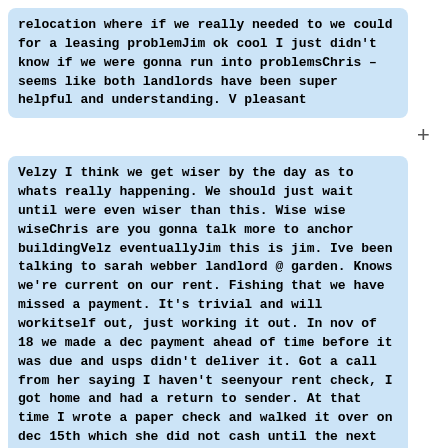relocation where if we really needed to we could for a leasing problemJim ok cool I just didn't know if we were gonna run into problemsChris – seems like both landlords have been super helpful and understanding. V pleasant
+
Velzy I think we get wiser by the day as to whats really happening. We should just wait until were even wiser than this. Wise wise wiseChris are you gonna talk more to anchor buildingVelz eventuallyJim this is jim. Ive been talking to sarah webber landlord @ garden. Knows we're current on our rent. Fishing that we have missed a payment. It's trivial and will workitself out, just working it out. In nov of 18 we made a dec payment ahead of time before it was due and usps didn't deliver it. Got a call from her saying I haven't seenyour rent check, I got home and had a return to sender. At that time I wrote a paper check and walked it over on dec 15th which she did not cash until the next year, middle of January so her records show we missed a pymt that she waited